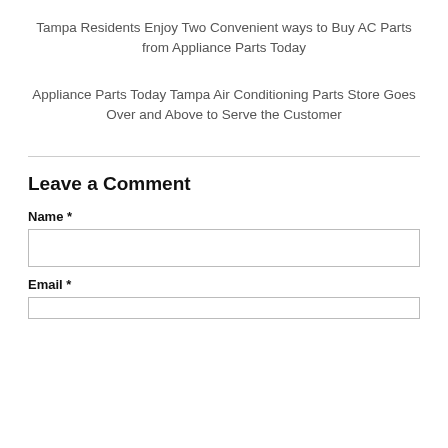Tampa Residents Enjoy Two Convenient ways to Buy AC Parts from Appliance Parts Today
Appliance Parts Today Tampa Air Conditioning Parts Store Goes Over and Above to Serve the Customer
Leave a Comment
Name *
Email *